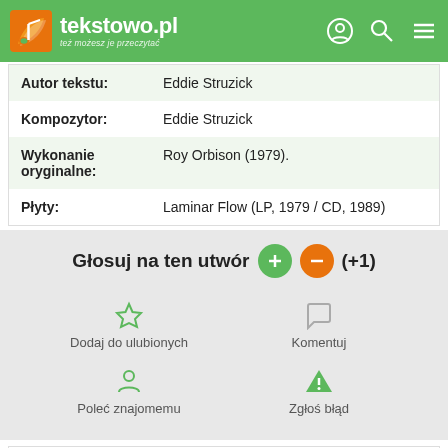tekstowo.pl - też możesz je przeczytać
| Autor tekstu: | Eddie Struzick |
| Kompozytor: | Eddie Struzick |
| Wykonanie oryginalne: | Roy Orbison (1979). |
| Płyty: | Laminar Flow (LP, 1979 / CD, 1989) |
Głosuj na ten utwór (+1)
Dodaj do ulubionych
Komentuj
Poleć znajomemu
Zgłoś błąd
Inne teksty piosenek